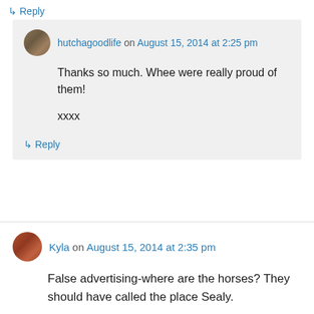↳ Reply
hutchagoodlife on August 15, 2014 at 2:25 pm
Thanks so much. Whee were really proud of them!

xxxx
↳ Reply
Kyla on August 15, 2014 at 2:35 pm
False advertising-where are the horses? They should have called the place Sealy.
↳ Reply